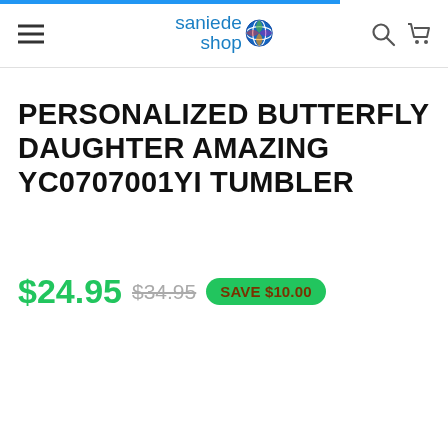saniede shop [logo] [hamburger menu] [search icon] [cart icon]
PERSONALIZED BUTTERFLY DAUGHTER AMAZING YC0707001YI TUMBLER
$24.95  $34.95  SAVE $10.00